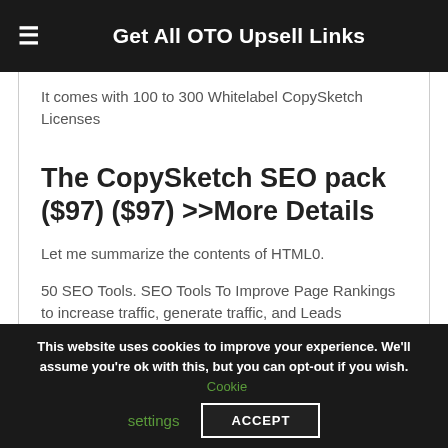Get All OTO Upsell Links
It comes with 100 to 300 Whitelabel CopySketch Licenses
The CopySketch SEO pack ($97) ($97) >>More Details
Let me summarize the contents of HTML0.
50 SEO Tools. SEO Tools To Improve Page Rankings to increase traffic, generate traffic, and Leads
This website uses cookies to improve your experience. We'll assume you're ok with this, but you can opt-out if you wish. Cookie settings ACCEPT